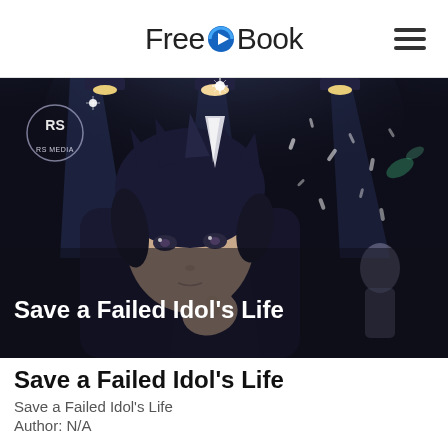FreeEBook
[Figure (illustration): Anime-style illustration of a male character with dark blue and white hair pointing forward, with stage lights and confetti in the background. RS MEDIA logo in upper left corner.]
Save a Failed Idol’s Life
Save a Failed Idol’s Life
Author: N/A